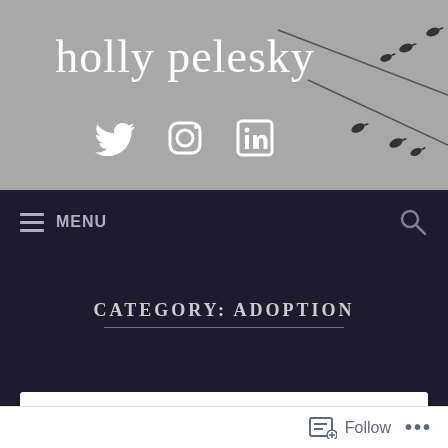[Figure (illustration): Website header with grey background showing birds sitting on diagonal wire lines on the right side. Contains site title 'holly pelesky' in white script font and social media icons (Twitter, Instagram, LinkedIn) below.]
holly pelesky
MENU
CATEGORY: ADOPTION
Follow ...